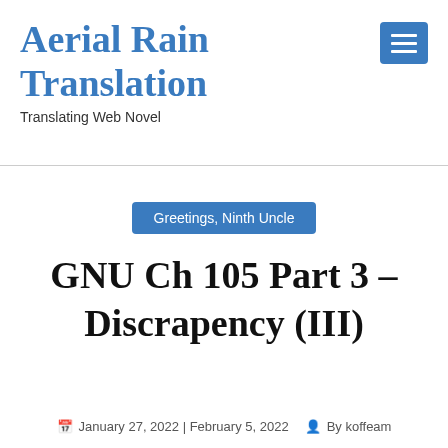Aerial Rain Translation
Translating Web Novel
Greetings, Ninth Uncle
GNU Ch 105 Part 3 – Discrapency (III)
January 27, 2022 | February 5, 2022  By koffeam